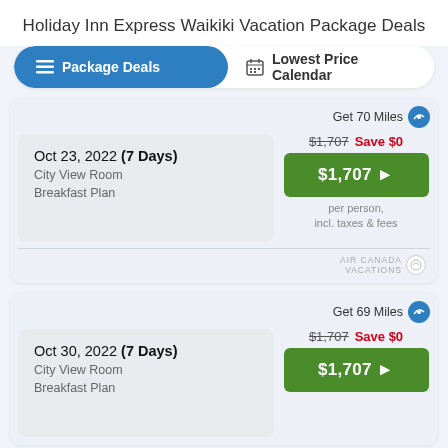Holiday Inn Express Waikiki Vacation Package Deals
Package Deals | Lowest Price Calendar
| Date | Room/Plan | Original Price | Save | Current Price |
| --- | --- | --- | --- | --- |
| Oct 23, 2022 (7 Days) | City View Room Breakfast Plan | $1,707 | Save $0 | $1,707 |
| Oct 30, 2022 (7 Days) | City View Room Breakfast Plan | $1,707 | Save $0 | $1,707 |